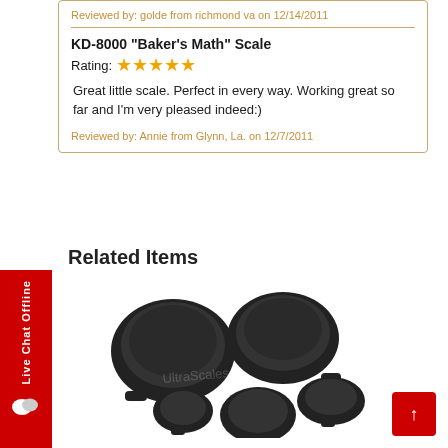Reviewed by: golde from richmond va on 12/14/2011
KD-8000 "Baker's Math" Scale
Rating: ★★★★★
Great little scale. Perfect in every way. Working great so far and I'm very pleased indeed:)
Reviewed by: Annie from Glynn, La. on 12/7/2011
Related Items
[Figure (photo): Five black plastic weighing bowls/trays of various sizes arranged on white background, with a faint watermark text overlay.]